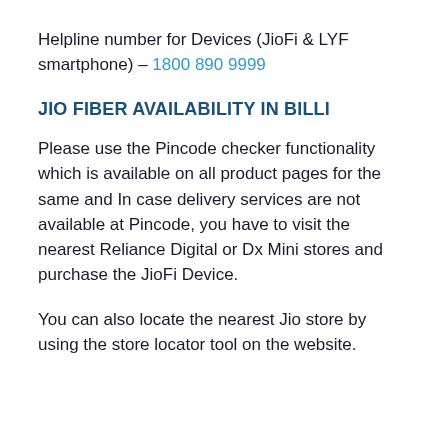Helpline number for Devices (JioFi & LYF smartphone) – 1800 890 9999
JIO FIBER AVAILABILITY IN BILLI
Please use the Pincode checker functionality which is available on all product pages for the same and In case delivery services are not available at Pincode, you have to visit the nearest Reliance Digital or Dx Mini stores and purchase the JioFi Device.
You can also locate the nearest Jio store by using the store locator tool on the website.